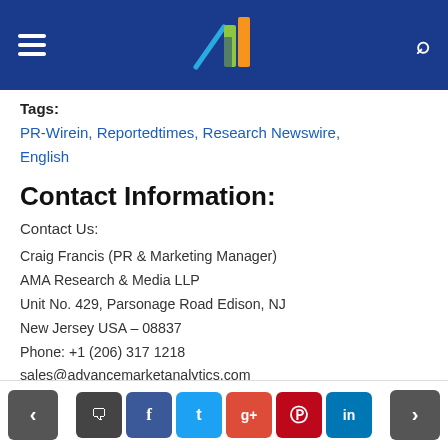Advance Market Analytics header with logo, hamburger menu, and search icon
Tags:
PR-Wirein, Reportedtimes, Research Newswire, English
Contact Information:
Contact Us:
Craig Francis (PR & Marketing Manager)
AMA Research & Media LLP
Unit No. 429, Parsonage Road Edison, NJ
New Jersey USA – 08837
Phone: +1 (206) 317 1218
sales@advancemarketanalytics.com
Connect with us at
Navigation and social share buttons: prev, comment, facebook, twitter, google+, pinterest, linkedin, next